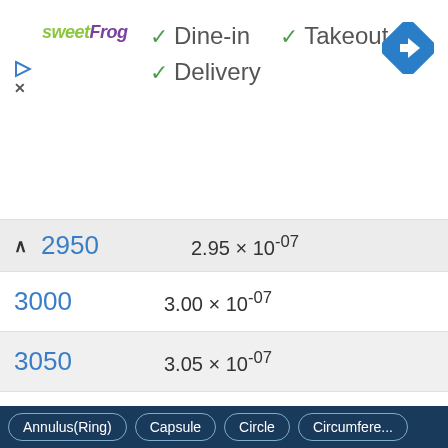[Figure (screenshot): SweetFrog logo and restaurant amenity badges showing checkmarks for Dine-in, Takeout, and Delivery; navigation arrow icon top right]
| Value | Scientific Notation |
| --- | --- |
| 2950 | 2.95 × 10⁻⁰⁷ |
| 3000 | 3.00 × 10⁻⁰⁷ |
| 3050 | 3.05 × 10⁻⁰⁷ |
| 3100 | 3.10 × 10⁻⁰⁷ |
| 3150 | 3.15 × 10⁻⁰⁷ |
| 3200 | 3.20 × 10⁻⁰⁷ |
| 3250 | 3.25 × 10⁻⁰⁷ |
| 3300 | 3.30 × 10⁻⁰⁷ |
Annulus(Ring)  Capsule  Circle  Circumference